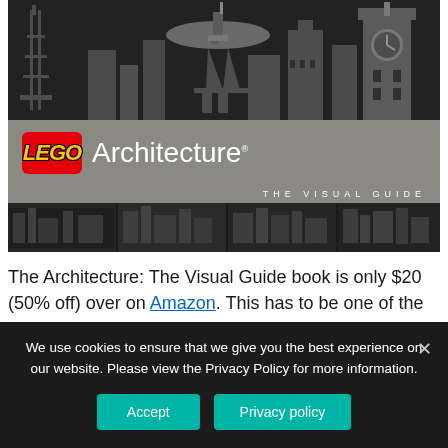[Figure (photo): Book cover of LEGO Architecture: The Visual Guide, showing LEGO architectural models (Eiffel Tower, Space Needle, Big Ben, etc.) against a dark background. The cover has a gray band with the red LEGO logo and 'Architecture' text, and 'THE VISUAL GUIDE' subtitle.]
The Architecture: The Visual Guide book is only $20 (50% off) over on Amazon. This has to be one of the classist books about Lego out there. It features 232 pages
We use cookies to ensure that we give you the best experience on our website. Please view the Privacy Policy for more information.